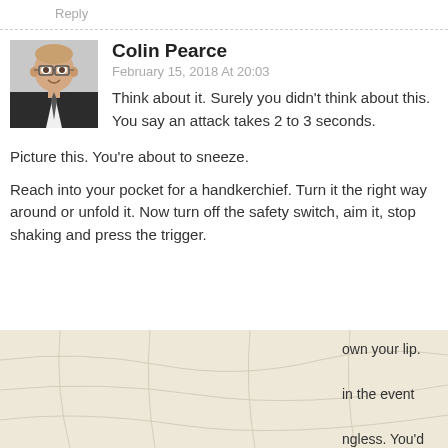Reply
Colin Pearce
February 15, 2018 At 20:03
Think about it. Surely you didn't think about this. You say an attack takes 2 to 3 seconds.
Picture this. You’re about to sneeze.
Reach into your pocket for a handkerchief. Turn it the right way around or unfold it. Now turn off the safety switch, aim it, stop shaking and press the trigger.
[Figure (photo): Avatar photo of Colin Pearce - a bald man with glasses in a dark suit, smiling]
[Figure (infographic): Burris Droptine Riflescope advertisement with rifle scope image, Burris logo, LEARN MORE button in red, text reading DROPTINE RIFLESCOPE and BEST SCOPE UNDER $150]
own your lip. in the event ngless. You'd all day